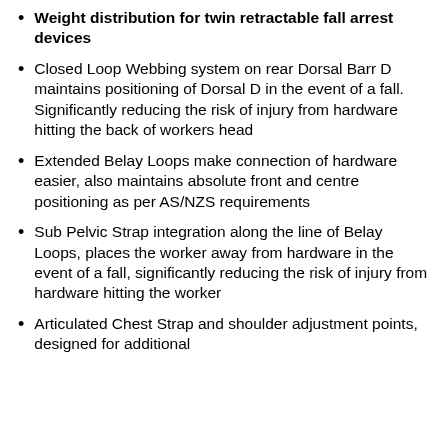Weight distribution for twin retractable fall arrest devices
Closed Loop Webbing system on rear Dorsal Barr D maintains positioning of Dorsal D in the event of a fall. Significantly reducing the risk of injury from hardware hitting the back of workers head
Extended Belay Loops make connection of hardware easier, also maintains absolute front and centre positioning as per AS/NZS requirements
Sub Pelvic Strap integration along the line of Belay Loops, places the worker away from hardware in the event of a fall, significantly reducing the risk of injury from hardware hitting the worker
Articulated Chest Strap and shoulder adjustment points, designed for additional